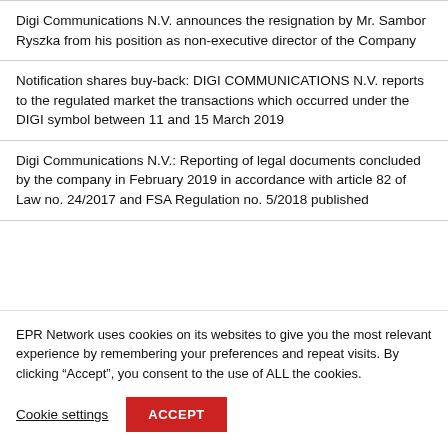Digi Communications N.V. announces the resignation by Mr. Sambor Ryszka from his position as non-executive director of the Company
Notification shares buy-back: DIGI COMMUNICATIONS N.V. reports to the regulated market the transactions which occurred under the DIGI symbol between 11 and 15 March 2019
Digi Communications N.V.: Reporting of legal documents concluded by the company in February 2019 in accordance with article 82 of Law no. 24/2017 and FSA Regulation no. 5/2018 published
EPR Network uses cookies on its websites to give you the most relevant experience by remembering your preferences and repeat visits. By clicking “Accept”, you consent to the use of ALL the cookies.